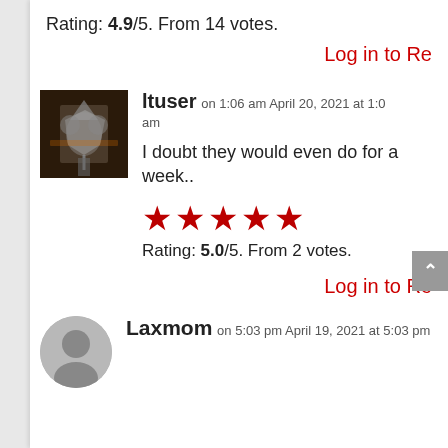Rating: 4.9/5. From 14 votes.
Log in to Re
ltuser on 1:06 am April 20, 2021 at 1:0 am
I doubt they would even do for a week..
[Figure (other): Five red star rating icons]
Rating: 5.0/5. From 2 votes.
Log in to Re
Laxmom on 5:03 pm April 19, 2021 at 5:03 pm